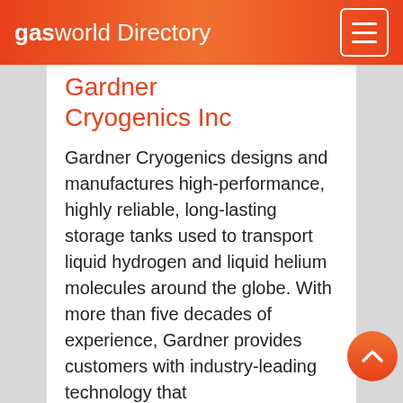gasworld Directory
Gardner Cryogenics Inc
Gardner Cryogenics designs and manufactures high-performance, highly reliable, long-lasting storage tanks used to transport liquid hydrogen and liquid helium molecules around the globe. With more than five decades of experience, Gardner provides customers with industry-leading technology that